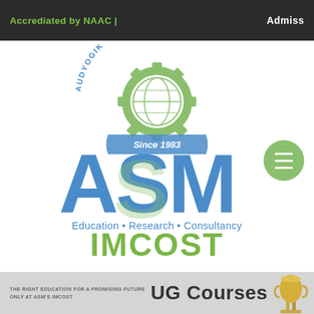Accrediated by NAAC | Admiss
[Figure (logo): ASM IMCOST logo: gear with globe and text 'AUDYOGIK SHIKSHAN MANDAL', ribbon with 'Since 1983', large blue letters 'ASM', tagline 'Education • Research • Consultancy', and 'IMCOST' in green]
THE RIGHT EDUCATION FOR A PROMISING FUTURE ONLY AT ASM'S IMCOST  UG Courses